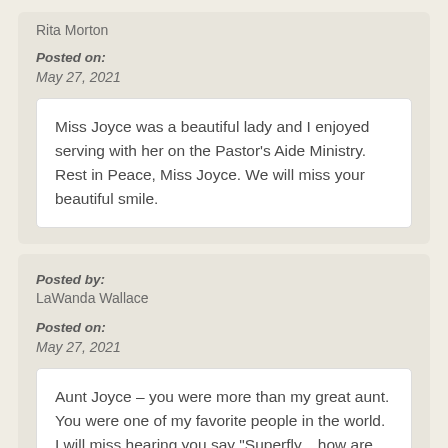Rita Morton
Posted on:
May 27, 2021
Miss Joyce was a beautiful lady and I enjoyed serving with her on the Pastor's Aide Ministry. Rest in Peace, Miss Joyce. We will miss your beautiful smile.
Posted by:
LaWanda Wallace
Posted on:
May 27, 2021
Aunt Joyce – you were more than my great aunt. You were one of my favorite people in the world. I will miss hearing you say "Superfly....how are you baby?" I was waiting patiently for the pandemic to simmer down so